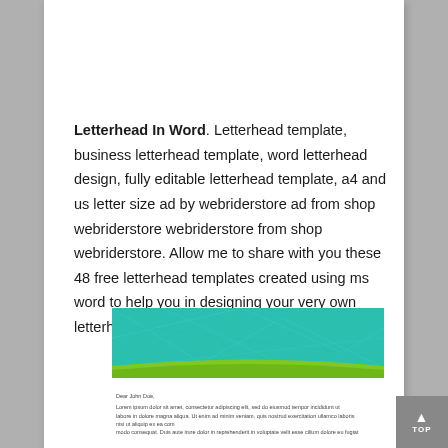Letterhead In Word. Letterhead template, business letterhead template, word letterhead design, fully editable letterhead template, a4 and us letter size ad by webriderstore ad from shop webriderstore webriderstore from shop webriderstore. Allow me to share with you these 48 free letterhead templates created using ms word to help you in designing your very own letterhead design.
[Figure (illustration): A decorative letterhead template header banner with a teal/turquoise geometric polygon background and a curved green stripe along the bottom edge.]
[Figure (screenshot): A small preview of a letterhead document showing 'Dear John Doe,' greeting and Lorem ipsum body text paragraphs.]